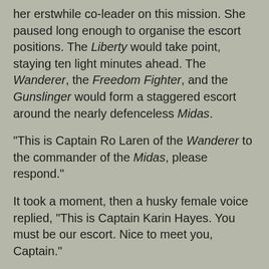her erstwhile co-leader on this mission. She paused long enough to organise the escort positions. The Liberty would take point, staying ten light minutes ahead. The Wanderer, the Freedom Fighter, and the Gunslinger would form a staggered escort around the nearly defenceless Midas.
"This is Captain Ro Laren of the Wanderer to the commander of the Midas, please respond."
It took a moment, then a husky female voice replied, "This is Captain Karin Hayes. You must be our escort. Nice to meet you, Captain."
Ro smiled despite herself. This freighter jock was taking the situation calmly enough. Most merchants finding themselves by armed ships crewed by "dangerous terrorists" would be nervous despite any assurances they'd received. Hayes sounded cool, collected, and utterly at peace with circumstances.
"May I please speak with Captain Macen?" Ro inquired.
"Captain is it?" Hayes scoffed, "Where's his ship?"
Ro smirked. She could hear Tulley chuckling from behind